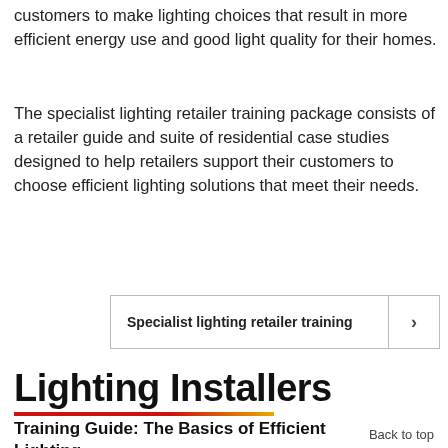customers to make lighting choices that result in more efficient energy use and good light quality for their homes.
The specialist lighting retailer training package consists of a retailer guide and suite of residential case studies designed to help retailers support their customers to choose efficient lighting solutions that meet their needs.
Specialist lighting retailer training
Lighting Installers
Training Guide: The Basics of Efficient Lighting
Back to top